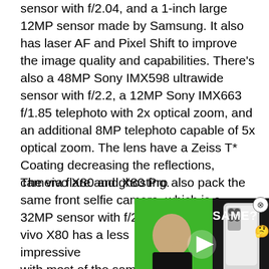sensor with f/2.04, and a 1-inch large 12MP sensor made by Samsung. It also has laser AF and Pixel Shift to improve the image quality and capabilities. There's also a 48MP Sony IMX598 ultrawide sensor with f/2.2, a 12MP Sony IMX663 f/1.85 telephoto with 2x optical zoom, and an additional 8MP telephoto capable of 5x optical zoom. The lens have a Zeiss T* Coating decreasing the reflections, camera flare and ghosting.
The vivo X80 and X80 Pro also pack the same front selfie camera, which is a 32MP sensor with f/2.45. The standard vivo X80 has a less impressive with most of the same functiona exclusive to the Pro due to the X80 has a 50MP Sony IMX866 f/1.75 and Optical Image Stabil 12MP f/1.98 telephoto sensor capable of 2x zoom, and there's an additional 12MP f/2.0 ultrawide sensor.
[Figure (screenshot): Video overlay thumbnail showing a person in a black t-shirt against a green background with text 'SAME?' and a thinking face emoji, with 'DAILY.' text and a play button. Has a close (X) button in the top right corner.]